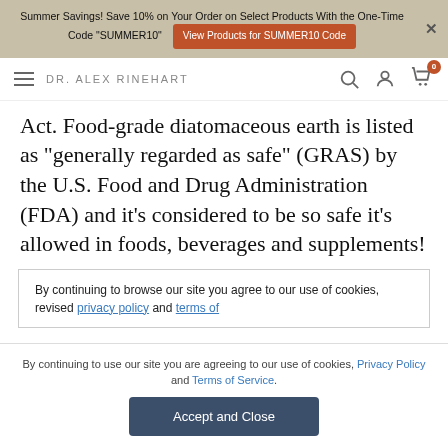Summer Savings! Save 10% on Your Order on Select Products With the One-Time Code "SUMMER10" | View Products for SUMMER10 Code
DR. ALEX RINEHART
Act. Food-grade diatomaceous earth is listed as “generally regarded as safe” (GRAS) by the U.S. Food and Drug Administration (FDA) and it’s considered to be so safe it’s allowed in foods, beverages and supplements!
By continuing to browse our site you agree to our use of cookies, revised privacy policy and terms of
By continuing to use our site you are agreeing to our use of cookies, Privacy Policy and Terms of Service.
Accept and Close